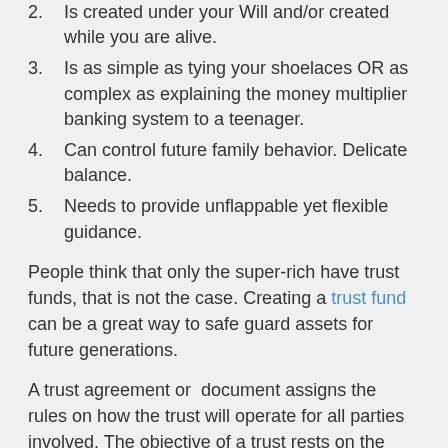2. Is created under your Will and/or created while you are alive.
3. Is as simple as tying your shoelaces OR as complex as explaining the money multiplier banking system to a teenager.
4. Can control future family behavior. Delicate balance.
5. Needs to provide unflappable yet flexible guidance.
People think that only the super-rich have trust funds, that is not the case. Creating a trust fund can be a great way to safe guard assets for future generations.
A trust agreement or  document assigns the rules on how the trust will operate for all parties involved. The objective of a trust rests on the needs of particular family's situation.
Generally, the purpose of the trust would be to reduce estate tax, keep assets out of probate, and decide how